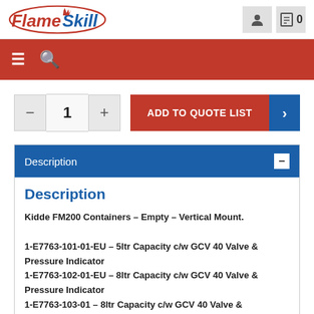FlameSkill
ADD TO QUOTE LIST
Description
Description
Kidde FM200 Containers – Empty – Vertical Mount.

1-E7763-101-01-EU – 5ltr Capacity c/w GCV 40 Valve & Pressure Indicator
1-E7763-102-01-EU – 8ltr Capacity c/w GCV 40 Valve & Pressure Indicator
1-E7763-103-01 – 8ltr Capacity c/w GCV 40 Valve &